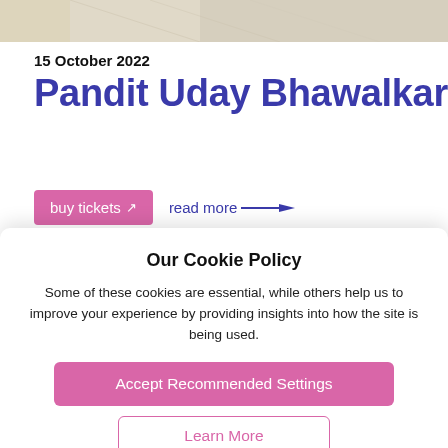[Figure (photo): Partial photo of a person wearing light-colored traditional clothing, cropped at the top of the page.]
15 October 2022
Pandit Uday Bhawalkar
buy tickets ↗   read more ——→
Our Cookie Policy
Some of these cookies are essential, while others help us to improve your experience by providing insights into how the site is being used.
Accept Recommended Settings
Learn More